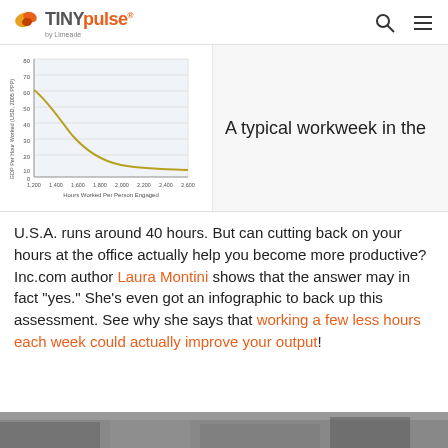TINYpulse by Limeade
[Figure (continuous-plot): Line chart showing GDP Per Hour Worked (USD, 2005 PPP) on y-axis vs Hours Worked Per Person Engaged on x-axis. Curve descends steeply from about 55 at 1,200 hours to about 10 at 2,800 hours, showing diminishing productivity with more hours worked.]
A typical workweek in the
U.S.A. runs around 40 hours. But can cutting back on your hours at the office actually help you become more productive? Inc.com author Laura Montini shows that the answer may in fact "yes." She's even got an infographic to back up this assessment. See why she says that working a few less hours each week could actually improve your output!